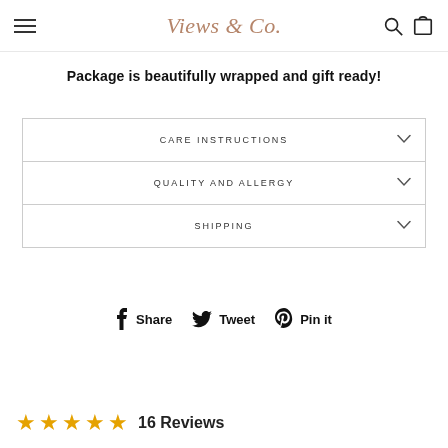Views & Co.
Package is beautifully wrapped and gift ready!
CARE INSTRUCTIONS
QUALITY AND ALLERGY
SHIPPING
Share  Tweet  Pin it
16 Reviews